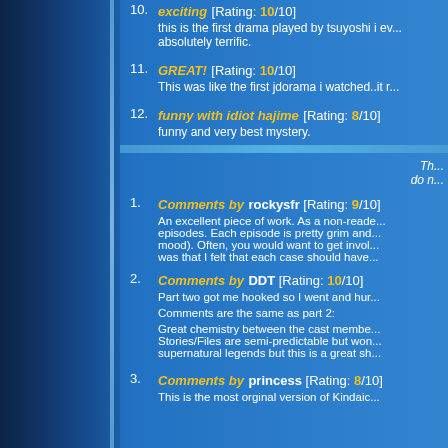10. exciting [Rating: 10/10] this is the first drama played by tsuyoshi i ev... absolutely terrific.
11. GREAT! [Rating: 10/10] This was like the first jdorama i watched..it r...
12. funny with idiot hajime [Rating: 8/10] funny and very best mystery.
Th... do n...
1. Comments by rockysfr [Rating: 9/10] An excellent piece of work. As a non-reade... episodes. Each episode is pretty grim and... mood). Often, you would want to get invol... was that I felt that each case should have...
2. Comments by DDT [Rating: 10/10] Part two got me hooked so I went and hur... Comments are the same as part 2: Great chemistry between the cast membe... Stories/Files are semi-predictable but won... supernatural legends but this is a great sh...
3. Comments by princess [Rating: 8/10] This is the most orginal version of Kindaic...